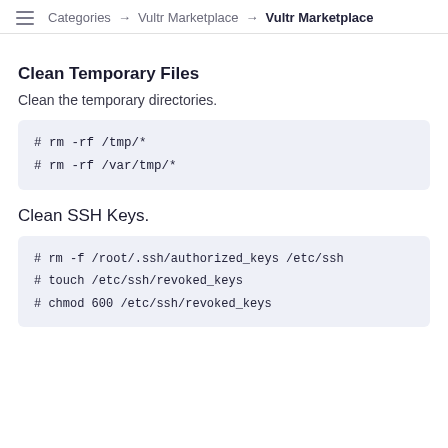Categories → Vultr Marketplace → Vultr Marketplace
Clean Temporary Files
Clean the temporary directories.
# rm -rf /tmp/*
# rm -rf /var/tmp/*
Clean SSH Keys.
# rm -f /root/.ssh/authorized_keys /etc/ssh
# touch /etc/ssh/revoked_keys
# chmod 600 /etc/ssh/revoked_keys